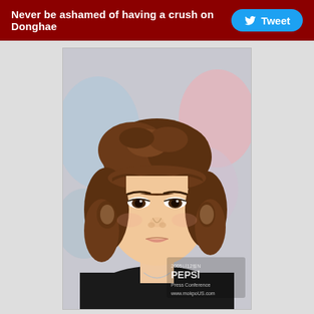Never be ashamed of having a crush on Donghae  Tweet
[Figure (photo): Portrait photo of a young Korean man with medium-length brown hair, wearing a black shirt. Has a Pepsi Press Conference watermark and www.mokpoUS.com URL in bottom right corner.]